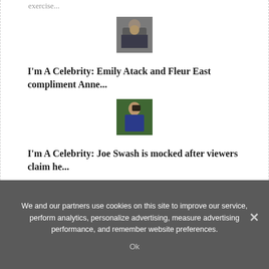exercise...
[Figure (photo): Thumbnail photo of a person in swimwear]
I'm A Celebrity: Emily Atack and Fleur East compliment Anne...
[Figure (photo): Thumbnail photo of a man outdoors with greenery in background]
I'm A Celebrity: Joe Swash is mocked after viewers claim he...
We and our partners use cookies on this site to improve our service, perform analytics, personalize advertising, measure advertising performance, and remember website preferences.
Ok